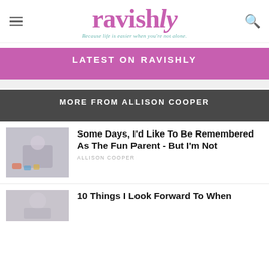ravishly — Because life is easier when you're not alone.
LATEST ON RAVISHLY
MORE FROM ALLISON COOPER
Some Days, I'd Like To Be Remembered As The Fun Parent - But I'm Not
ALLISON COOPER
10 Things I Look Forward To When